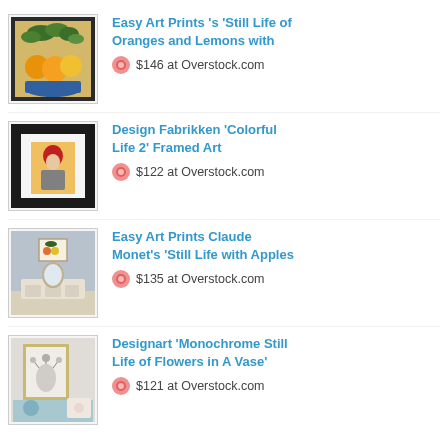[Figure (photo): Thumbnail of 'Still Life of Oranges and Lemons with Blue' art print showing oranges and lemons in a bowl]
Easy Art Prints 's 'Still Life of Oranges and Lemons with
$146 at Overstock.com
[Figure (photo): Thumbnail of 'Design Fabrikken Colorful Life 2 Framed Art' showing a colorful portrait in a black frame]
Design Fabrikken 'Colorful Life 2' Framed Art
$122 at Overstock.com
[Figure (photo): Thumbnail of 'Easy Art Prints Claude Monet's Still Life with Apples' showing a room setting with the art print]
Easy Art Prints Claude Monet's 'Still Life with Apples
$135 at Overstock.com
[Figure (photo): Thumbnail of 'Designart Monochrome Still Life of Flowers in A Vase' showing the framed art in a room setting]
Designart 'Monochrome Still Life of Flowers in A Vase'
$121 at Overstock.com